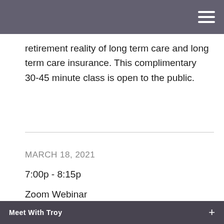retirement reality of long term care and long term care insurance. This complimentary 30-45 minute class is open to the public.
MARCH 18, 2021
7:00p - 8:15p
Zoom Webinar
State of the Markets
Meet With Troy